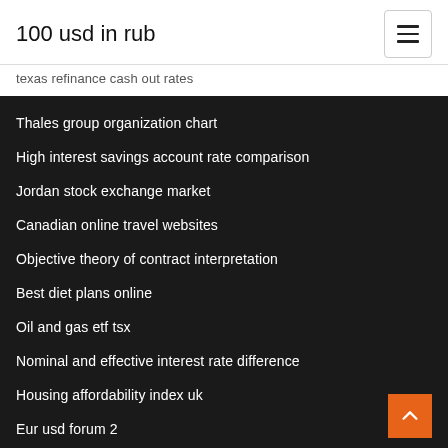100 usd in rub
texas refinance cash out rates
Thales group organization chart
High interest savings account rate comparison
Jordan stock exchange market
Canadian online travel websites
Objective theory of contract interpretation
Best diet plans online
Oil and gas etf tsx
Nominal and effective interest rate difference
Housing affordability index uk
Eur usd forum 2